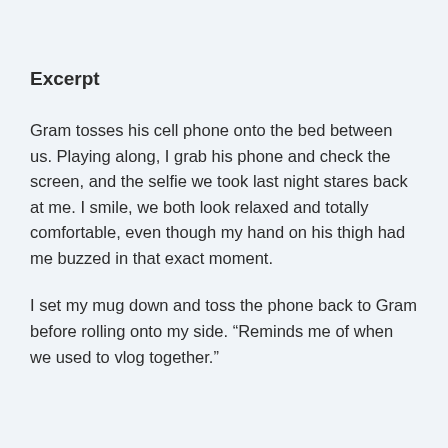Excerpt
Gram tosses his cell phone onto the bed between us. Playing along, I grab his phone and check the screen, and the selfie we took last night stares back at me. I smile, we both look relaxed and totally comfortable, even though my hand on his thigh had me buzzed in that exact moment.
I set my mug down and toss the phone back to Gram before rolling onto my side. “Reminds me of when we used to vlog together.”